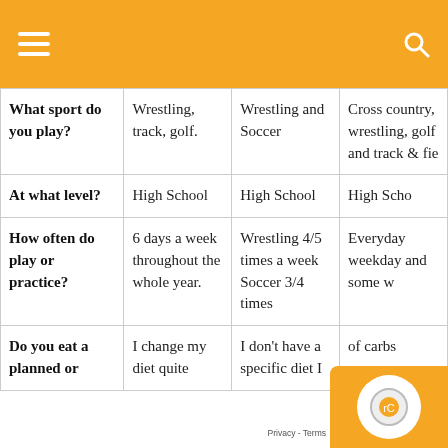Navigation header with hamburger menu and search icon
|  | Column 1 | Column 2 | Column 3 |
| --- | --- | --- | --- |
| What sport do you play? | Wrestling, track, golf. | Wrestling and Soccer | Cross country, wrestling, golf and track & fie |
| At what level? | High School | High School | High Scho |
| How often do play or practice? | 6 days a week throughout the whole year. | Wrestling 4/5 times a week Soccer 3/4 times | Everyday weekday and some we...nde |
| Do you eat a planned or | I change my diet quite | I don't have a specific diet I | of carbs |